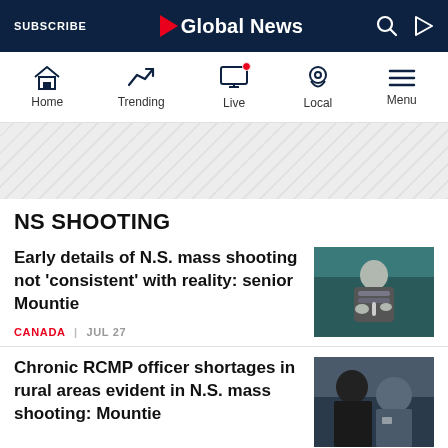SUBSCRIBE | Global News
[Figure (screenshot): Global News website navigation bar with Home, Trending, Live, Local, Menu icons]
[Figure (other): Advertisement banner area with diagonal stripe pattern]
NS SHOOTING
Early details of N.S. mass shooting not ‘consistent’ with reality: senior Mountie
CANADA | JUL 27
[Figure (photo): Man in suit speaking at podium with microphone, dark teal background]
Chronic RCMP officer shortages in rural areas evident in N.S. mass shooting: Mountie
[Figure (photo): Man in dark suit photographed from behind, second man visible in background]